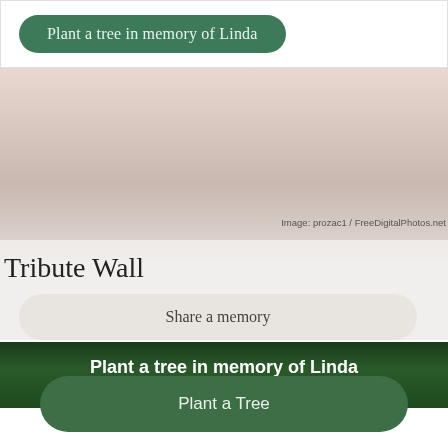[Figure (screenshot): Green rounded button reading 'Plant a tree in memory of Linda' on white card background]
[Figure (photo): Misty sunrise/sunset landscape with mountains and soft pink sky]
Image: prozac1 / FreeDigitalPhotos.net
Tribute Wall
Share a memory
[Figure (photo): Aerial view of dense green forest/evergreen trees from above]
Plant a tree in memory of Linda
An environmentally-friendly option
Plant a tree
Plant a Tree